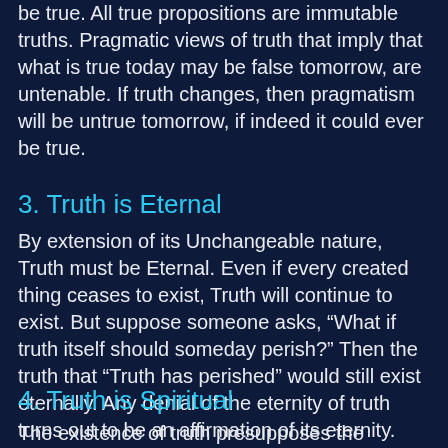be true. All true propositions are immutable truths. Pragmatic views of truth that imply that what is true today may be false tomorrow, are untenable. If truth changes, then pragmatism will be untrue tomorrow, if indeed it could ever be true.
3. Truth is Eternal
By extension of its Unchangeable nature, Truth must be Eternal. Even if every created thing ceases to exist, Truth will continue to exist. But suppose someone asks, “What if truth itself should someday perish?” Then the truth that “Truth has perished” would still exist eternally. Any denial of the eternity of truth turns out to be an affirmation of its eternity.
4. Truth is Spiritual
The existence of truth presupposes the existence of minds. Without a mind, truth could not exist. The object of knowledge is